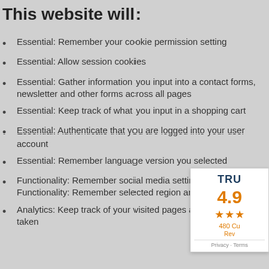This website will:
Essential: Remember your cookie permission setting
Essential: Allow session cookies
Essential: Gather information you input into a contact forms, newsletter and other forms across all pages
Essential: Keep track of what you input in a shopping cart
Essential: Authenticate that you are logged into your user account
Essential: Remember language version you selected
Functionality: Remember social media settings| Functionality: Remember selected region and count
Analytics: Keep track of your visited pages and inte taken
[Figure (infographic): Trust badge widget showing rating 4.9, stars, 480 customer reviews label, and Privacy/Terms links]